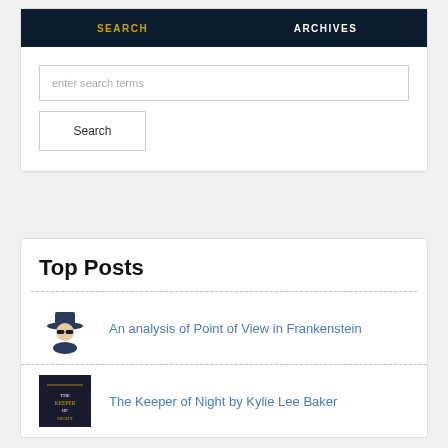SEARCH | ARCHIVES
enter search terms
Search
Top Posts
An analysis of Point of View in Frankenstein
The Keeper of Night by Kylie Lee Baker